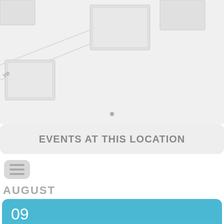[Figure (map): Partial street map view showing building outlines and street labels in light gray tones]
EVENTS AT THIS LOCATION
[Figure (other): Menu/hamburger icon button in gray rounded rectangle]
AUGUST
09 AUG JIGGING LESSONS 4 SESSIONS